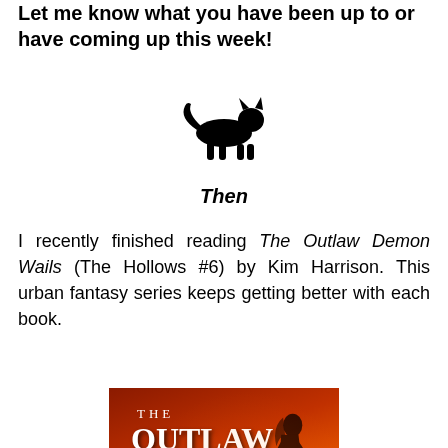Let me know what you have been up to or have coming up this week!
[Figure (illustration): Small black cat silhouette icon walking]
Then
I recently finished reading The Outlaw Demon Wails (The Hollows #6) by Kim Harrison. This urban fantasy series keeps getting better with each book.
[Figure (photo): Book cover of The Outlaw Demon Wails by Kim Harrison, showing a woman silhouette against a fiery red background with the title text]